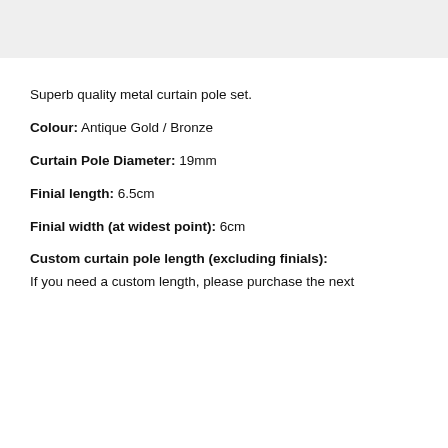[Figure (photo): Product image area (grey box, partially visible at top of page)]
Superb quality metal curtain pole set.
Colour: Antique Gold / Bronze
Curtain Pole Diameter: 19mm
Finial length: 6.5cm
Finial width (at widest point): 6cm
Custom curtain pole length (excluding finials):
If you need a custom length, please purchase the next